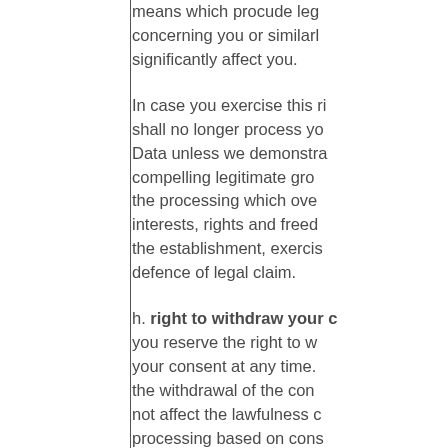means which procude leg concerning you or similarly significantly affect you.
In case you exercise this ri shall no longer process yo Data unless we demonstra compelling legitimate gro the processing which ove interests, rights and freed the establishment, exercis defence of legal claim.
h. right to withdraw your consent: you reserve the right to w your consent at any time. the withdrawal of the con not affect the lawfulness c processing based on cons